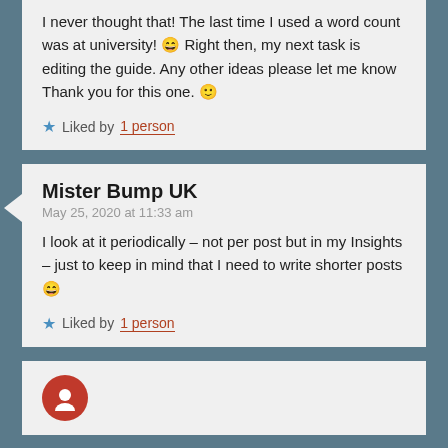I never thought that! The last time I used a word count was at university! 😄 Right then, my next task is editing the guide. Any other ideas please let me know Thank you for this one. 🙂
Liked by 1 person
Mister Bump UK
May 25, 2020 at 11:33 am
I look at it periodically – not per post but in my Insights – just to keep in mind that I need to write shorter posts 😄
Liked by 1 person